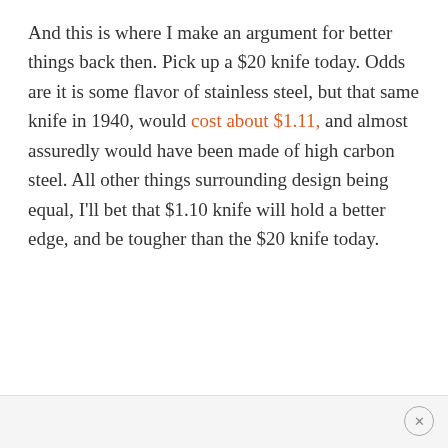And this is where I make an argument for better things back then. Pick up a $20 knife today. Odds are it is some flavor of stainless steel, but that same knife in 1940, would cost about $1.11, and almost assuredly would have been made of high carbon steel. All other things surrounding design being equal, I'll bet that $1.10 knife will hold a better edge, and be tougher than the $20 knife today.